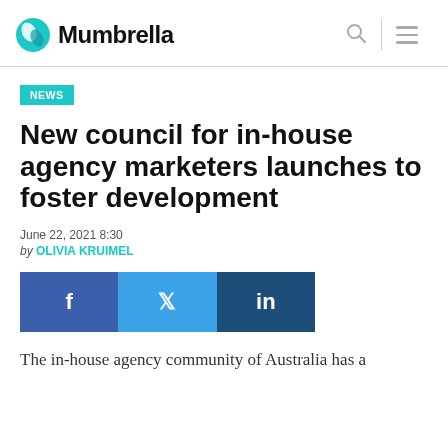Mumbrella
NEWS
New council for in-house agency marketers launches to foster development
June 22, 2021 8:30
by OLIVIA KRUIMEL
[Figure (infographic): Social sharing buttons: Facebook (f), Twitter (bird icon), LinkedIn (in)]
The in-house agency community of Australia has a